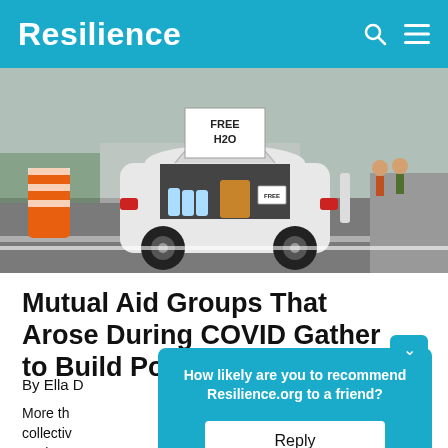Resilience
[Figure (photo): A white hatchback car with its trunk open, filled with water bottles, snacks, and handwritten signs reading FREE H2O and FREE, parked on a road near a construction barrel with people visible in the background.]
Mutual Aid Groups That Arose During COVID Gather to Build Power Regionally
By Ella [name cut off]
More th[an...] collective[s...] neglect[...] [organ]izers
How likely are you to recommend Resilience.org to a friend?
Reply